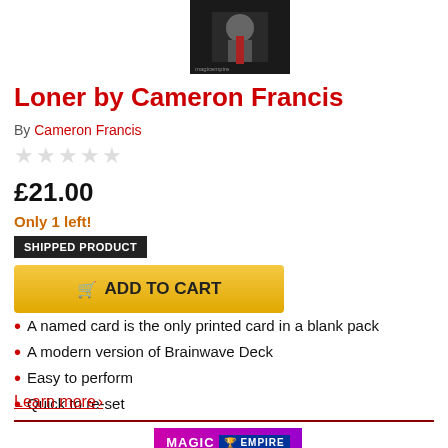[Figure (photo): Product image showing a person in a dark suit with a red tie against a dark background]
Loner by Cameron Francis
By Cameron Francis
★★★★★ (empty star rating)
£21.00
Only 1 left!
SHIPPED PRODUCT
ADD TO CART
A named card is the only printed card in a blank pack
A modern version of Brainwave Deck
Easy to perform
Quick to re-set
Learn more >
[Figure (logo): Magic Empire logo at the bottom of the page]